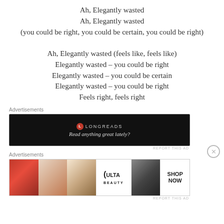Ah, Elegantly wasted
Ah, Elegantly wasted
(you could be right, you could be certain, you could be right)
Ah, Elegantly wasted (feels like, feels like)
Elegantly wasted – you could be right
Elegantly wasted – you could be certain
Elegantly wasted – you could be right
Feels right, feels right
Advertisements
[Figure (other): Longreads advertisement banner on black background. Logo: red circle with L, text LONGREADS. Tagline: Read anything great lately?]
Advertisements
[Figure (other): Ulta Beauty advertisement banner showing cosmetic images: lips with lipstick, makeup brush, eye with eyeshadow, Ulta logo, dramatic eye makeup, SHOP NOW text]